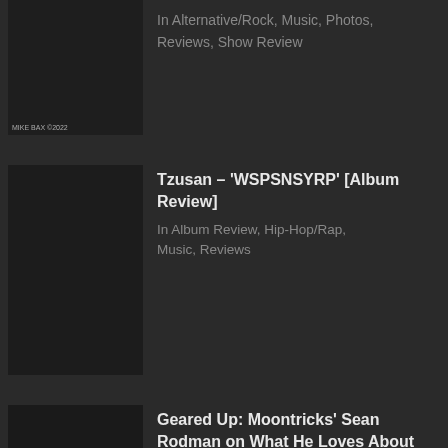[Figure (photo): Dark concert/music photo with band performing, watermark MIKE BAX ©2022]
In Alternative/Rock, Music, Photos, Reviews, Show Review
[Figure (photo): Dark grayscale album artwork image for Tzusan WSPSNSYRP]
Tzusan – 'WSPSNSYRP' [Album Review]
In Album Review, Hip-Hop/Rap, Music, Reviews
[Figure (photo): Dark photo of musician with banjo for Moontricks Sean Rodman article]
Geared Up: Moontricks' Sean Rodman on What He Loves About His Banjo
In Folk, Interviews, Music